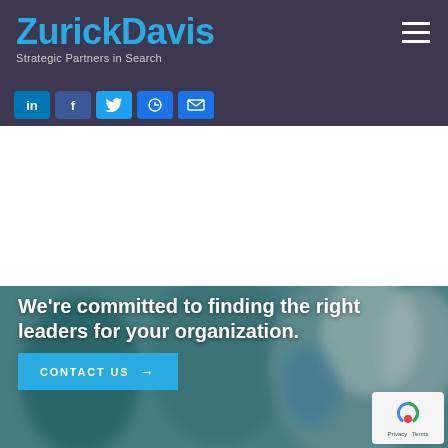ZurickDavis — Strategic Partners in Search
[Figure (logo): ZurickDavis logo with blue text and tagline 'Strategic Partners in Search' on dark purple/charcoal header bar]
[Figure (screenshot): Social media icon buttons: LinkedIn, Facebook, Twitter, Google+, Email on dark purple bar]
[Figure (photo): Blurred photo of business professionals (doctors/leaders) with teal/grey tones forming hero section background]
We're committed to finding the right leaders for your organization.
CONTACT US →